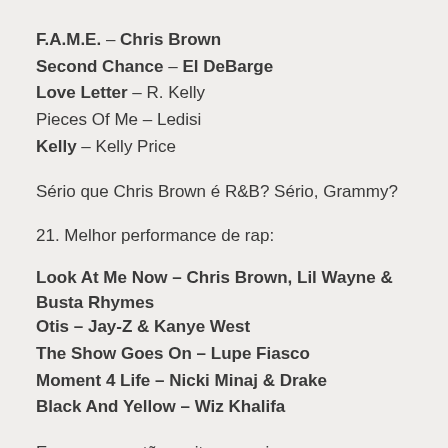F.A.M.E. – Chris Brown
Second Chance – El DeBarge
Love Letter – R. Kelly
Pieces Of Me – Ledisi
Kelly – Kelly Price
Sério que Chris Brown é R&B? Sério, Grammy?
21. Melhor performance de rap:
Look At Me Now – Chris Brown, Lil Wayne & Busta Rhymes
Otis – Jay-Z & Kanye West
The Show Goes On – Lupe Fiasco
Moment 4 Life – Nicki Minaj & Drake
Black And Yellow – Wiz Khalifa
Esses nomes tão muito normais pra rap, a música com